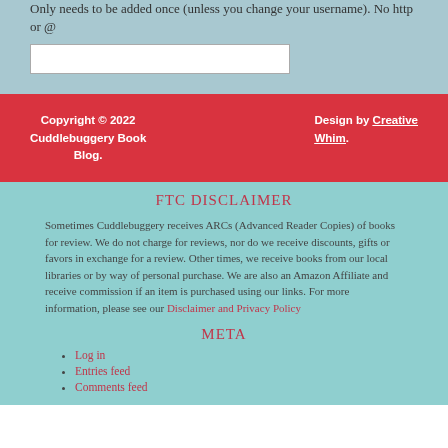Only needs to be added once (unless you change your username). No http or @
Copyright © 2022 Cuddlebuggery Book Blog.   Design by Creative Whim.
FTC DISCLAIMER
Sometimes Cuddlebuggery receives ARCs (Advanced Reader Copies) of books for review. We do not charge for reviews, nor do we receive discounts, gifts or favors in exchange for a review. Other times, we receive books from our local libraries or by way of personal purchase. We are also an Amazon Affiliate and receive commission if an item is purchased using our links. For more information, please see our Disclaimer and Privacy Policy
META
Log in
Entries feed
Comments feed